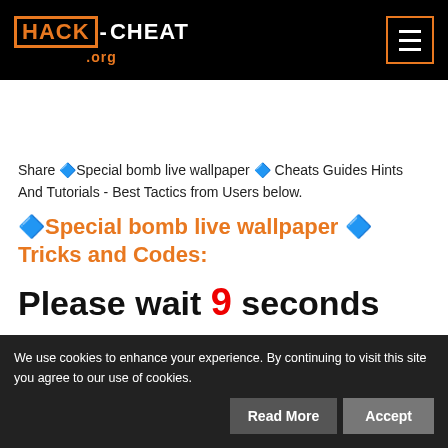HACK-CHEAT .org
Share 🔷Special bomb live wallpaper 🔷 Cheats Guides Hints And Tutorials - Best Tactics from Users below.
🔷Special bomb live wallpaper 🔷 Tricks and Codes:
Please wait 9 seconds
We use cookies to enhance your experience. By continuing to visit this site you agree to our use of cookies.